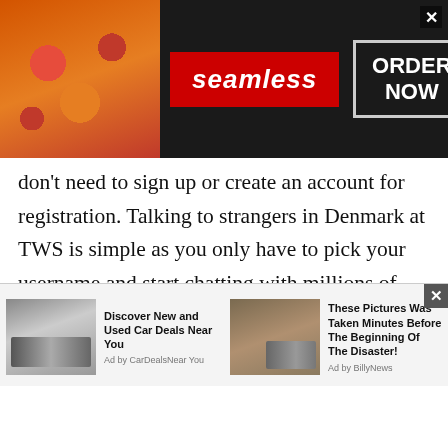[Figure (screenshot): Seamless food delivery advertisement banner showing pizza image on left, red 'seamless' logo in center, and 'ORDER NOW' button in white bordered box on dark background. Close button (x) in top right.]
don't need to sign up or create an account for registration. Talking to strangers in Denmark at TWS is simple as you only have to pick your username and start chatting with millions of strangers online. Yes, at TWS boy chat, you have a great opportunity to start a stranger chat and meet people from Denmark, Denmark, Asia and other countries.

One-to-one private boys chat helps boys to spend a great time with their friends and family. They can
[Figure (screenshot): Bottom advertisement strip with two ad units: (1) Car image with text 'Discover New and Used Car Deals Near You' Ad by CarDealsNearYou; (2) Truck/outdoor image with text 'These Pictures Was Taken Minutes Before The Beginning Of The Disaster!' Ad by BillyNews. Close button top right.]